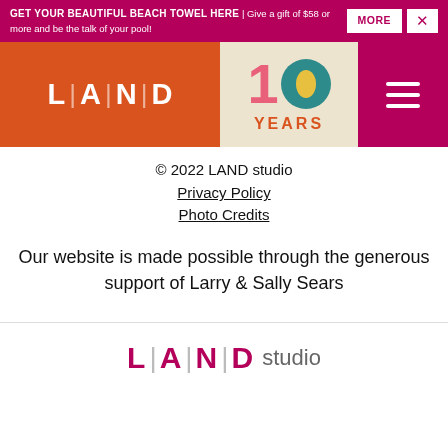GET YOUR BEAUTIFUL BEACH TOWEL HERE | Give a gift of $58 or more and be the talk of your pool!
[Figure (logo): LAND studio logo with orange background and 10 YEARS anniversary badge]
© 2022 LAND studio
Privacy Policy
Photo Credits
Our website is made possible through the generous support of Larry & Sally Sears
[Figure (logo): LAND studio text logo in magenta and grey]